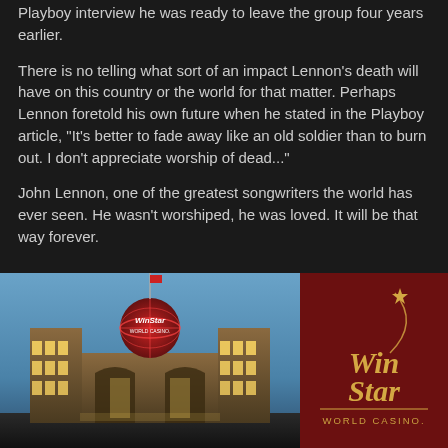Playboy interview he was ready to leave the group four years earlier.
There is no telling what sort of an impact Lennon's death will have on this country or the world for that matter. Perhaps Lennon foretold his own future when he stated in the Playboy article, "It's better to fade away like an old soldier than to burn out. I don't appreciate worship of dead..."
John Lennon, one of the greatest songwriters the world has ever seen. He wasn't worshiped, he was loved. It will be that way forever.
[Figure (photo): WinStar World Casino exterior building photo at dusk/night with illuminated globe sign, alongside WinStar World Casino logo on dark red background]